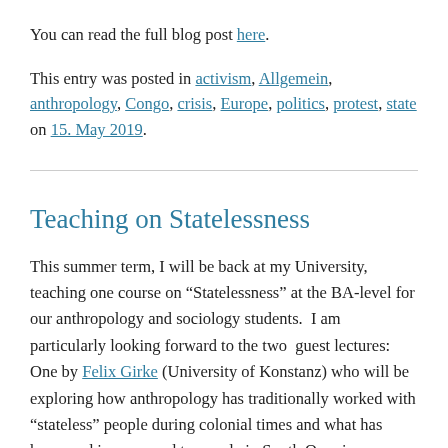You can read the full blog post here.
This entry was posted in activism, Allgemein, anthropology, Congo, crisis, Europe, politics, protest, state on 15. May 2019.
Teaching on Statelessness
This summer term, I will be back at my University, teaching one course on “Statelessness” at the BA-level for our anthropology and sociology students.  I am particularly looking forward to the two  guest lectures: One by Felix Girke (University of Konstanz) who will be exploring how anthropology has traditionally worked with “stateless” people during colonial times and what has happened in areas and to people in South Omo in Southern Ethiopia where the modern